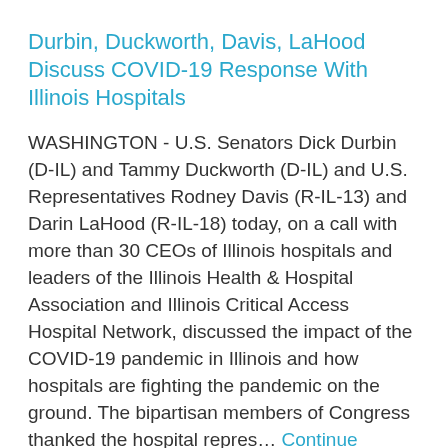Durbin, Duckworth, Davis, LaHood Discuss COVID-19 Response With Illinois Hospitals
WASHINGTON - U.S. Senators Dick Durbin (D-IL) and Tammy Duckworth (D-IL) and U.S. Representatives Rodney Davis (R-IL-13) and Darin LaHood (R-IL-18) today, on a call with more than 30 CEOs of Illinois hospitals and leaders of the Illinois Health & Hospital Association and Illinois Critical Access Hospital Network, discussed the impact of the COVID-19 pandemic in Illinois and how hospitals are fighting the pandemic on the ground. The bipartisan members of Congress thanked the hospital repres… Continue Reading